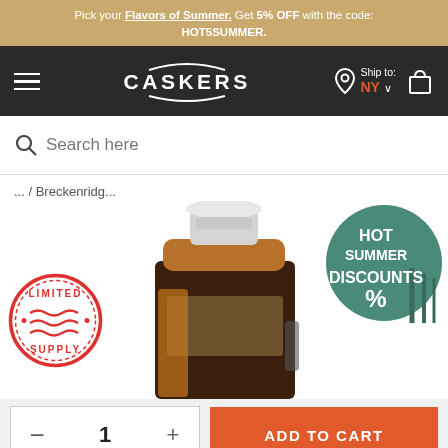Pick your Flavors of Summer. Get 5% OFF with the code: HOT5SUMMER.
[Figure (screenshot): Caskers website navigation bar with hamburger menu, Caskers logo, ship to NY selector, and cart icon]
Search here
... / Breckenridg...
[Figure (photo): Breckenridge bourbon whiskey bottle in a crystal decanter with silver stopper, with Limited Supply badge and Hot Summer Discounts % badge overlaid]
ADD TO CART